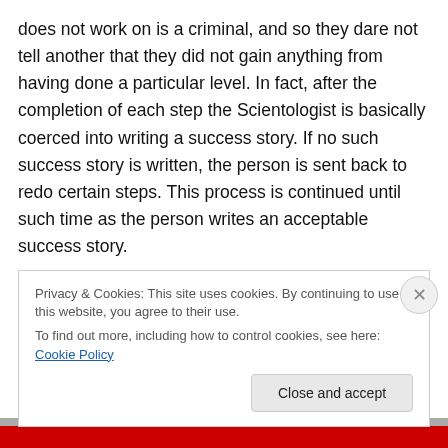does not work on is a criminal, and so they dare not tell another that they did not gain anything from having done a particular level. In fact, after the completion of each step the Scientologist is basically coerced into writing a success story. If no such success story is written, the person is sent back to redo certain steps. This process is continued until such time as the person writes an acceptable success story.

So OTs go around thinking there is something wrong with them individually, and that they must be the only
Privacy & Cookies: This site uses cookies. By continuing to use this website, you agree to their use.
To find out more, including how to control cookies, see here: Cookie Policy